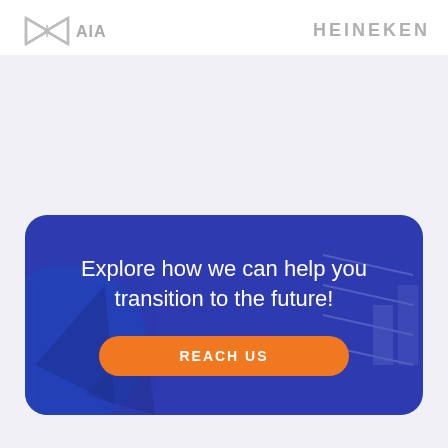[Figure (logo): AIA logo (grey geometric triangular icon with AIA text)]
[Figure (logo): HEINEKEN wordmark logo in grey uppercase letters]
Explore how we can help you transition to the future!
REACH US